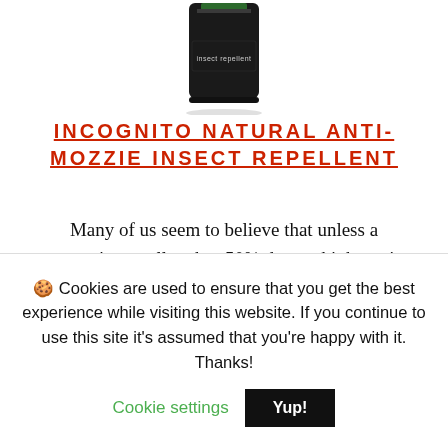[Figure (photo): Partial view of a dark/black bottle of insect repellent with label reading 'insect repellent', cropped at the top]
INCOGNITO NATURAL ANTI-MOZZIE INSECT REPELLENT
Many of us seem to believe that unless a mosquito repellant has 50% deet or higher – it will not work. Now let me tell you, this is an absolute baloney right there.
Incognito is 100% natural resulting in being much
🍪 Cookies are used to ensure that you get the best experience while visiting this website. If you continue to use this site it's assumed that you're happy with it. Thanks!
Cookie settings   Yup!